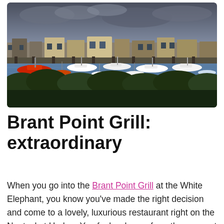[Figure (photo): Aerial/elevated view of Nantucket Harbor with numerous boats moored on blue water, dock buildings and a marina in the background, dark green trees in the foreground, cloudy sky above.]
Brant Point Grill: extraordinary
When you go into the Brant Point Grill at the White Elephant, you know you've made the right decision and come to a lovely, luxurious restaurant right on the Nantucket Harbor. You feel welcome from the moment